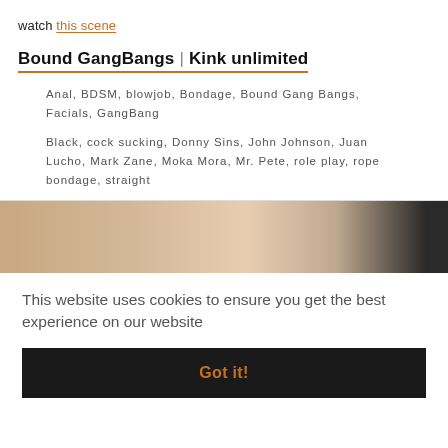watch this scene
Bound GangBangs | Kink unlimited
Anal, BDSM, blowjob, Bondage, Bound Gang Bangs, Facials, GangBang
Black, cock sucking, Donny Sins, John Johnson, Juan Lucho, Mark Zane, Moka Mora, Mr. Pete, role play, rope bondage, straight
[Figure (photo): Partial view of a person, cropped image used as scene thumbnail]
This website uses cookies to ensure you get the best experience on our website
Got it!